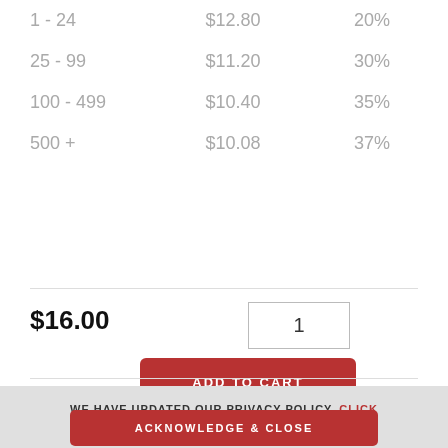| Quantity | Price | Discount |
| --- | --- | --- |
| 1 - 24 | $12.80 | 20% |
| 25 - 99 | $11.20 | 30% |
| 100 - 499 | $10.40 | 35% |
| 500 + | $10.08 | 37% |
$16.00
1
ADD TO CART
WE HAVE UPDATED OUR PRIVACY POLICY. CLICK HERE TO READ OUR FULL POLICY.
ACKNOWLEDGE & CLOSE